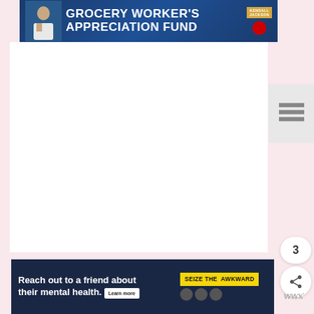[Figure (screenshot): Top banner advertisement for Grocery Worker's Appreciation Fund with Kendall Jackson and United Way logos on dark blue background]
[Figure (screenshot): Navigation menu with horizontal bars icon and Weather Underground logo]
[Figure (screenshot): White content area (article body, mostly blank)]
[Figure (screenshot): Blue circular like/heart button, count badge showing '3', and share button]
3
[Figure (screenshot): What's Next card showing thumbnail and title 'Peppermint Ice Cream Pie']
WHAT'S NEXT → Peppermint Ice Cream Pie
[Figure (screenshot): Bottom banner advertisement: 'Reach out to a friend about their mental health. Learn more' with SEIZE THE AWKWARD branding and Weather Underground logo]